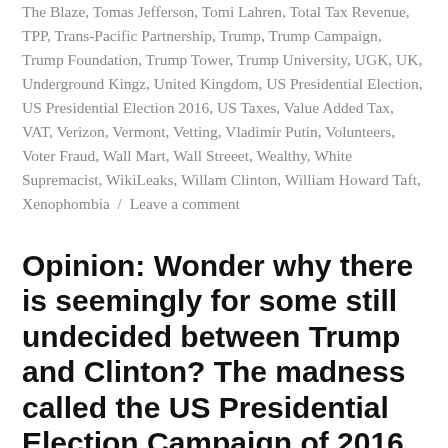The Blaze, Tomas Jefferson, Tomi Lahren, Total Tax Revenue, TPP, Trans-Pacific Partnership, Trump, Trump Campaign, Trump Foundation, Trump Tower, Trump University, UGK, UK, Underground Kingz, United Kingdom, US Presidential Election, US Presidential Election 2016, US Taxes, Value Added Tax, VAT, Verizon, Vermont, Vetting, Vladimir Putin, Volunteers, Voter Fraud, Wall Mart, Wall Streeet, Wealthy, White Supremacist, WikiLeaks, Willam Clinton, William Howard Taft, Xenophombia / Leave a comment
Opinion: Wonder why there is seemingly for some still undecided between Trump and Clinton? The madness called the US Presidential Election Campaign of 2016 is